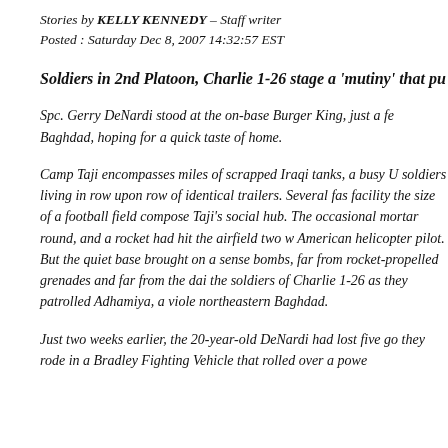Stories by KELLY KENNEDY – Staff writer
Posted : Saturday Dec 8, 2007 14:32:57 EST
Soldiers in 2nd Platoon, Charlie 1-26 stage a 'mutiny' that pu
Spc. Gerry DeNardi stood at the on-base Burger King, just a fe Baghdad, hoping for a quick taste of home.
Camp Taji encompasses miles of scrapped Iraqi tanks, a busy U soldiers living in row upon row of identical trailers. Several fas facility the size of a football field compose Taji's social hub. The occasional mortar round, and a rocket had hit the airfield two w American helicopter pilot. But the quiet base brought on a sense bombs, far from rocket-propelled grenades and far from the dai the soldiers of Charlie 1-26 as they patrolled Adhamiya, a viole northeastern Baghdad.
Just two weeks earlier, the 20-year-old DeNardi had lost five go they rode in a Bradley Fighting Vehicle that rolled over a powe